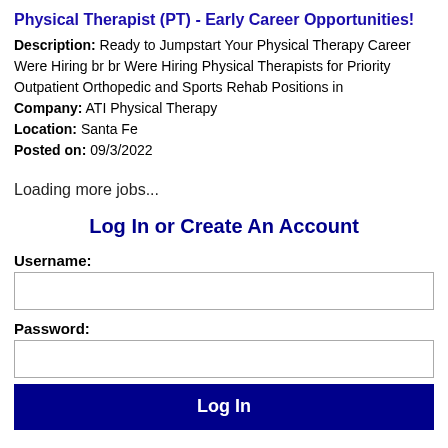Physical Therapist (PT) - Early Career Opportunities!
Description: Ready to Jumpstart Your Physical Therapy Career Were Hiring br br Were Hiring Physical Therapists for Priority Outpatient Orthopedic and Sports Rehab Positions in
Company: ATI Physical Therapy
Location: Santa Fe
Posted on: 09/3/2022
Loading more jobs...
Log In or Create An Account
Username:
Password:
Log In